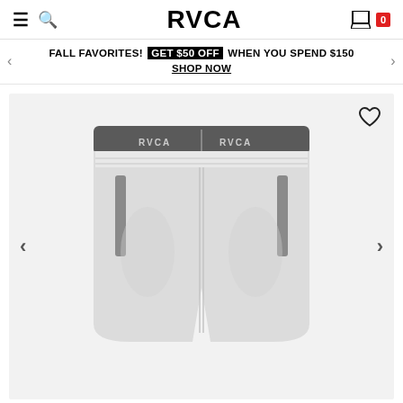RVCA — navigation bar with hamburger menu, search, logo, cart (0 items)
FALL FAVORITES! GET $50 OFF WHEN YOU SPEND $150 SHOP NOW
[Figure (photo): RVCA athletic shorts in light grey/white with dark grey RVCA branded waistband and grey zip side pockets, displayed on a light grey background with navigation arrows on either side and a heart/wishlist icon in the top right corner.]